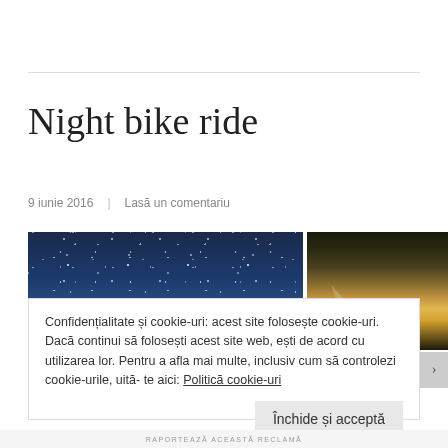Night bike ride
9 iunie 2016   Lasă un comentariu
[Figure (photo): Two side-by-side night photos: left shows a dark blue starry sky, right shows a night landscape with a beam of light and dramatic clouds.]
Confidențialitate și cookie-uri: acest site folosește cookie-uri. Dacă continui să folosești acest site web, ești de acord cu utilizarea lor. Pentru a afla mai multe, inclusiv cum să controlezi cookie-urile, uită-te aici: Politică cookie-uri
Închide și acceptă